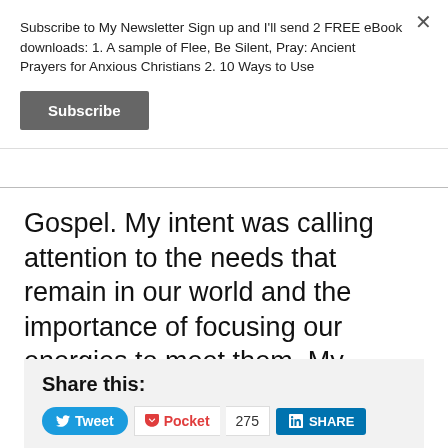Subscribe to My Newsletter Sign up and I'll send 2 FREE eBook downloads: 1. A sample of Flee, Be Silent, Pray: Ancient Prayers for Anxious Christians 2. 10 Ways to Use
Subscribe
Gospel. My intent was calling attention to the needs that remain in our world and the importance of focusing our energies to meet them. My apologies if this post unintentionally minimized anyone's generosity or service.
Share this:
Tweet  Pocket  275  SHARE